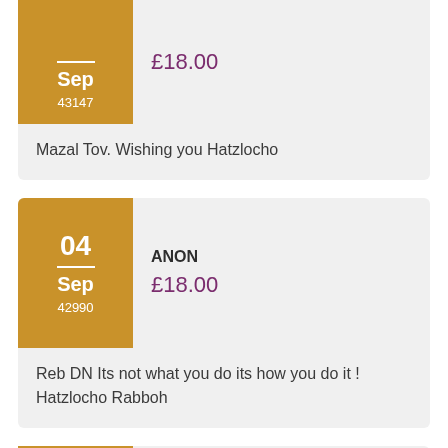Sep 43147 — £18.00 — Mazal Tov. Wishing you Hatzlocho
04 Sep 42990 — ANON — £18.00 — Reb DN Its not what you do its how you do it ! Hatzlocho Rabboh
02 — ANONYMOUS